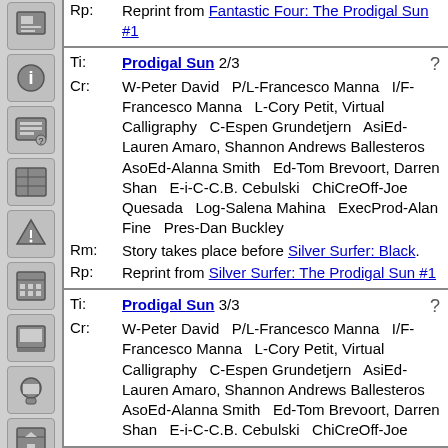Rp: Reprint from Fantastic Four: The Prodigal Sun #1
| Ti: | Prodigal Sun 2/3 | ? |
| Cr: | W-Peter David   P/L-Francesco Manna   I/F-Francesco Manna   L-Cory Petit, Virtual Calligraphy   C-Espen Grundetjern   AsiEd-Lauren Amaro, Shannon Andrews Ballesteros   AsoEd-Alanna Smith   Ed-Tom Brevoort, Darren Shan   E-i-C-C.B. Cebulski   ChiCreOff-Joe Quesada   Log-Salena Mahina   ExecProd-Alan Fine   Pres-Dan Buckley |  |
| Rm: | Story takes place before Silver Surfer: Black. |  |
| Rp: | Reprint from Silver Surfer: The Prodigal Sun #1 |  |
| Ti: | Prodigal Sun 3/3 | ? |
| Cr: | W-Peter David   P/L-Francesco Manna   I/F-Francesco Manna   L-Cory Petit, Virtual Calligraphy   C-Espen Grundetjern   AsiEd-Lauren Amaro, Shannon Andrews Ballesteros   AsoEd-Alanna Smith   Ed-Tom Brevoort, Darren Shan   E-i-C-C.B. Cebulski   ChiCreOff-Joe |  |